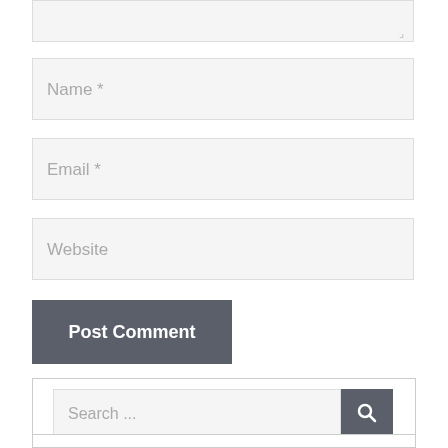[Figure (screenshot): Textarea input box (top, partially visible) with resize handle at bottom-right corner]
Name *
Email *
Website
Post Comment
[Figure (screenshot): Search bar with text 'Search ...' and a dark search button with magnifying glass icon, inside a bordered box]